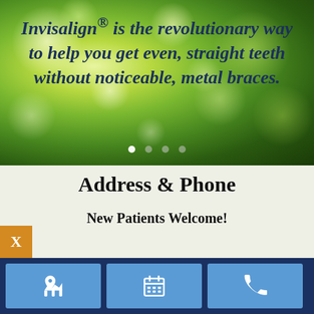[Figure (photo): Green bokeh nature background with light spots]
Invisalign® is the revolutionary way to help you get even, straight teeth without noticeable, metal braces.
Address & Phone
New Patients Welcome!
[Figure (infographic): Three blue icon buttons: map pin, calendar, phone handset on a dark navy bar]